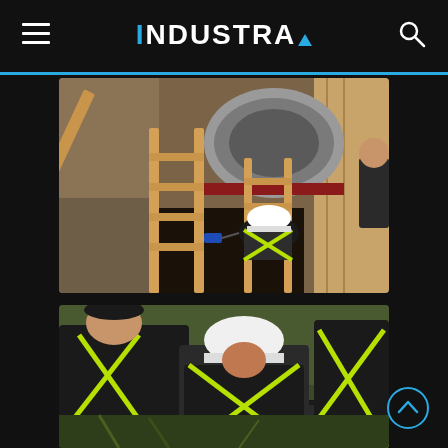INDUSTRA
[Figure (photo): Construction workers working in a trench excavation site. A worker in a high-visibility vest and white hard hat is visible descending into a deep trench using a wooden ladder. Large concrete pipe or culvert visible in background. Wooden shoring boards line the trench walls.]
[Figure (photo): Two construction workers wearing high-visibility vests and one with a white hard hat, working at ground level on a pipeline or utility installation.]